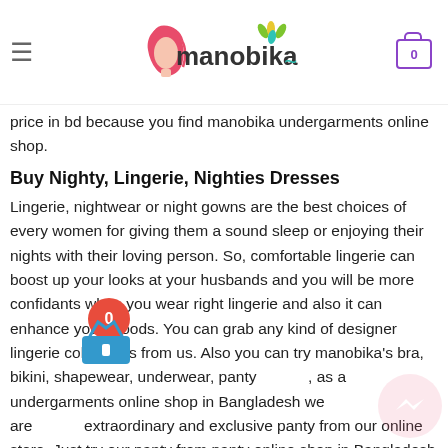manobika — header with logo, hamburger menu, and cart icon showing 0
price in bd because you find manobika undergarments online shop.
Buy Nighty, Lingerie, Nighties Dresses
Lingerie, nightwear or night gowns are the best choices of every women for giving them a sound sleep or enjoying their nights with their loving person. So, comfortable lingerie can boost up your looks at your husbands and you will be more confidants when you wear right lingerie and also it can enhance your moods. You can grab any kind of designer lingerie collections from us. Also you can try manobika's bra, bikini, shapewear, underwear, panty [0 badge], as a undergarments online shop in Bangladesh we are [basket icon] extraordinary and exclusive panty from our online store. Just try our panty from panty online shop in Bangladesh at manobika.com